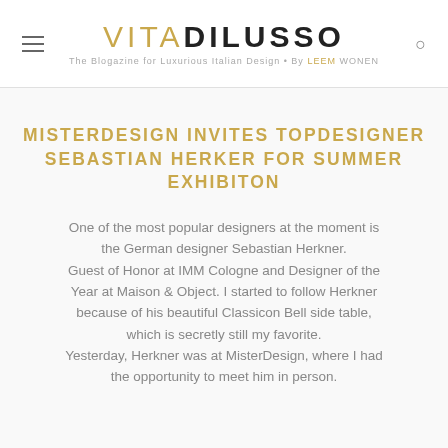VITA DI LUSSO — The Blogazine for Luxurious Italian Design • By LEEM WONEN
MISTERDESIGN INVITES TOPDESIGNER SEBASTIAN HERKER FOR SUMMER EXHIBITON
One of the most popular designers at the moment is the German designer Sebastian Herkner. Guest of Honor at IMM Cologne and Designer of the Year at Maison & Object. I started to follow Herkner because of his beautiful Classicon Bell side table, which is secretly still my favorite. Yesterday, Herkner was at MisterDesign, where I had the opportunity to meet him in person.